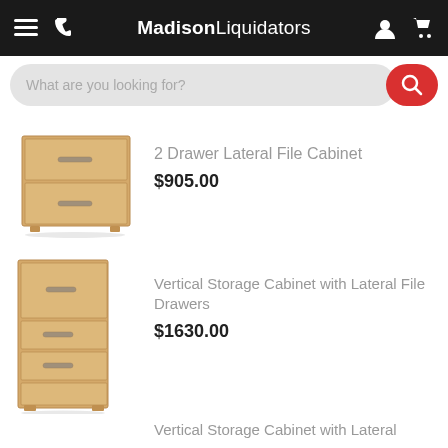MadisonLiquidators
What are you looking for?
[Figure (illustration): 2-drawer lateral file cabinet in light wood finish]
2 Drawer Lateral File Cabinet
$905.00
[Figure (illustration): Tall vertical storage cabinet with lateral file drawers in light wood finish]
Vertical Storage Cabinet with Lateral File Drawers
$1630.00
[Figure (illustration): Vertical storage cabinet with lateral file drawers (partial view, cropped)]
Vertical Storage Cabinet with Lateral